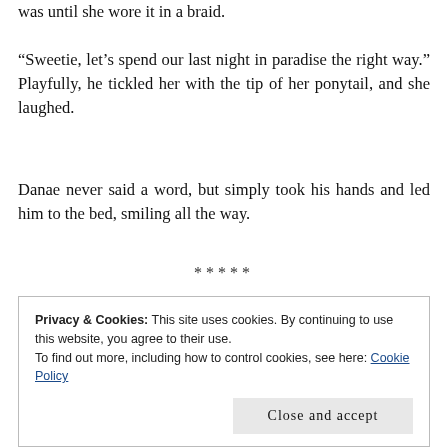was until she wore it in a braid.
“Sweetie, let’s spend our last night in paradise the right way.” Playfully, he tickled her with the tip of her ponytail, and she laughed.
Danae never said a word, but simply took his hands and led him to the bed, smiling all the way.
*****
The phone rang the next morning at seven-thirty, and
Privacy & Cookies: This site uses cookies. By continuing to use this website, you agree to their use.
To find out more, including how to control cookies, see here: Cookie Policy
Close and accept
The alarm on his phone was set to sound at 9:00am, and